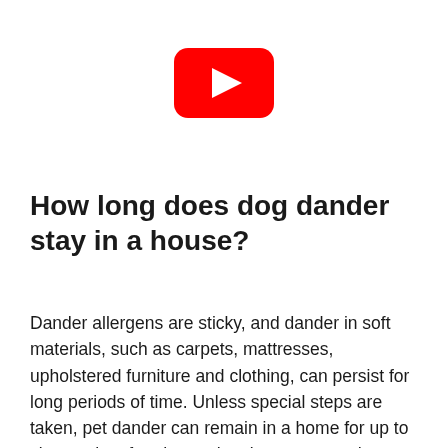[Figure (logo): YouTube logo — red rounded rectangle with white play triangle in center]
How long does dog dander stay in a house?
Dander allergens are sticky, and dander in soft materials, such as carpets, mattresses, upholstered furniture and clothing, can persist for long periods of time. Unless special steps are taken, pet dander can remain in a home for up to six months after the pet has been removed.